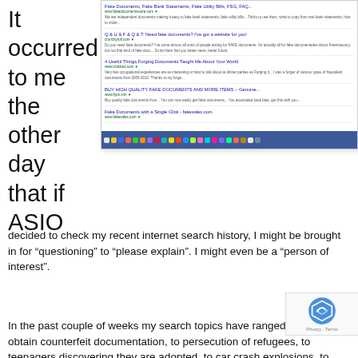It occurred to me the other day that if ASIO
[Figure (screenshot): Screenshot of a web browser search results page showing results for fake documents, with a taskbar visible at the bottom with colorful application icons on a blue background.]
decided to check my recent internet search history, I might be brought in for “questioning” to “please explain”. I might even be a “person of interest”.
In the past couple of weeks my search topics have ranged from how to obtain counterfeit documentation, to persecution of refugees, to teenagers discovering they are adopted, to car crash explosions, to house fire investigations, to grizzly forensics, to details about several well-known court cases – and everything in between! (One would be forgiven for thinking that I am writing a crime thriller, but I’m actually researching a contemporary middle grade novel about family love – really.)